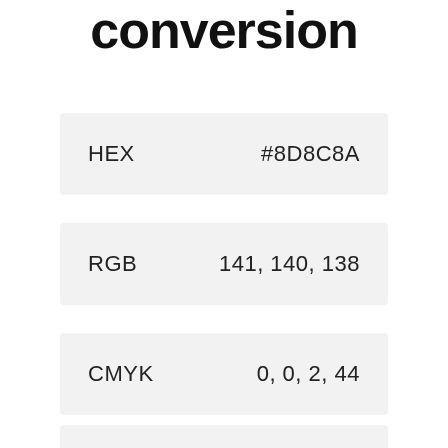conversion
| Format | Value |
| --- | --- |
| HEX | #8D8C8A |
| RGB | 141, 140, 138 |
| CMYK | 0, 0, 2, 44 |
| HSB | 40, 2, 55 |